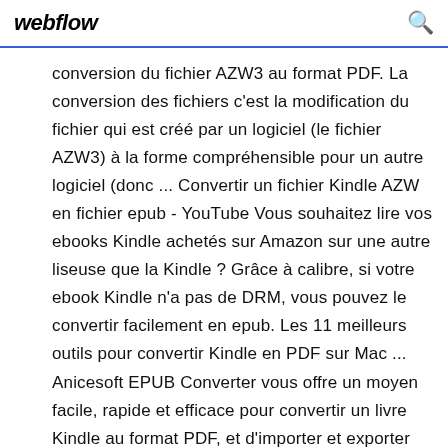webflow [search icon]
conversion du fichier AZW3 au format PDF. La conversion des fichiers c'est la modification du fichier qui est créé par un logiciel (le fichier AZW3) à la forme compréhensible pour un autre logiciel (donc ... Convertir un fichier Kindle AZW en fichier epub - YouTube Vous souhaitez lire vos ebooks Kindle achetés sur Amazon sur une autre liseuse que la Kindle ? Grâce à calibre, si votre ebook Kindle n'a pas de DRM, vous pouvez le convertir facilement en epub. Les 11 meilleurs outils pour convertir Kindle en PDF sur Mac ... Anicesoft EPUB Converter vous offre un moyen facile, rapide et efficace pour convertir un livre Kindle au format PDF, et d'importer et exporter un livre...